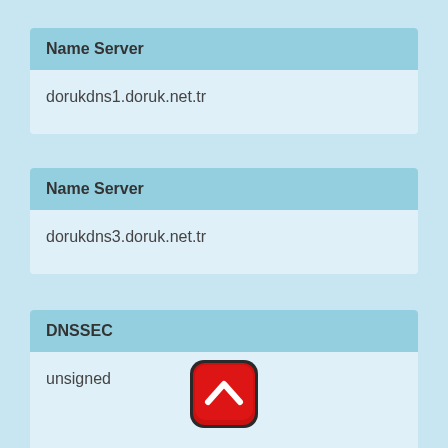Name Server
dorukdns1.doruk.net.tr
Name Server
dorukdns3.doruk.net.tr
DNSSEC
unsigned
[Figure (illustration): Red rounded square button with white upward-pointing chevron arrow icon]